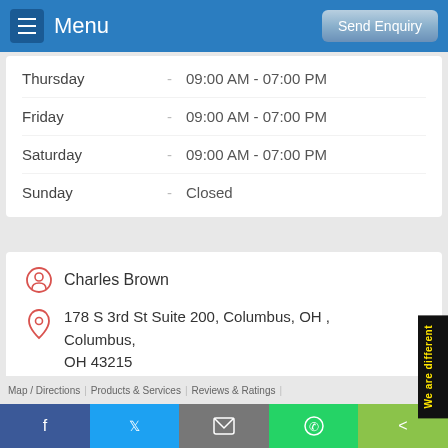Menu | Send Enquiry
| Day |  | Hours |
| --- | --- | --- |
| Thursday | - | 09:00 AM - 07:00 PM |
| Friday | - | 09:00 AM - 07:00 PM |
| Saturday | - | 09:00 AM - 07:00 PM |
| Sunday | - | Closed |
Charles Brown
178 S 3rd St Suite 200, Columbus, OH , Columbus, OH 43215
Visit Website
View On Map
Map / Directions | Products & Services | Reviews & Ratings